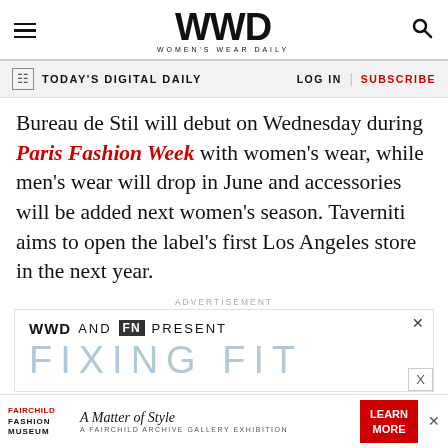WWD WOMEN'S WEAR DAILY
TODAY'S DIGITAL DAILY   LOG IN | SUBSCRIBE
Bureau de Stil will debut on Wednesday during Paris Fashion Week with women's wear, while men's wear will drop in June and accessories will be added next women's season. Taverniti aims to open the label's first Los Angeles store in the next year.
[Figure (other): WWD and FN Present FIXING FIT advertisement banner with close button]
[Figure (other): Fairchild Fashion Museum - A Matter of Style: A Fairchild Archive Gallery Exhibition advertisement with LEARN MORE button]